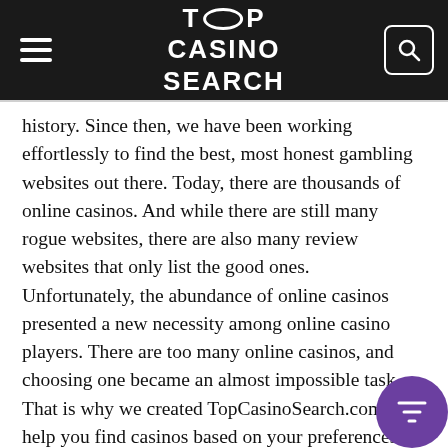TOP CASINO SEARCH
history. Since then, we have been working effortlessly to find the best, most honest gambling websites out there. Today, there are thousands of online casinos. And while there are still many rogue websites, there are also many review websites that only list the good ones. Unfortunately, the abundance of online casinos presented a new necessity among online casino players. There are too many online casinos, and choosing one became an almost impossible task. That is why we created TopCasinoSearch.com. To help you find casinos based on your preferences. We created a unique filter system that can help anyone find online casinos based specifically on preferences such as accepted country, in addition to accepted deposit method and a specific typ